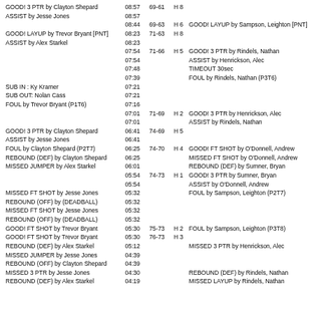| HOME | TIME | SCORE | MARGIN | AWAY |
| --- | --- | --- | --- | --- |
| GOOD! 3 PTR by Clayton Shepard | 08:57 | 69-61 | H 8 |  |
| ASSIST by Jesse Jones | 08:57 |  |  |  |
|  | 08:44 | 69-63 | H 6 | GOOD! LAYUP by Sampson, Leighton [PNT] |
| GOOD! LAYUP by Trevor Bryant [PNT] | 08:23 | 71-63 | H 8 |  |
| ASSIST by Alex Starkel | 08:23 |  |  |  |
|  | 07:54 | 71-66 | H 5 | GOOD! 3 PTR by Rindels, Nathan |
|  | 07:54 |  |  | ASSIST by Henrickson, Alec |
|  | 07:48 |  |  | TIMEOUT 30sec |
|  | 07:39 |  |  | FOUL by Rindels, Nathan (P3T6) |
| SUB IN : Ky Kramer | 07:21 |  |  |  |
| SUB OUT: Nolan Cass | 07:21 |  |  |  |
| FOUL by Trevor Bryant (P1T6) | 07:16 |  |  |  |
|  | 07:01 | 71-69 | H 2 | GOOD! 3 PTR by Henrickson, Alec |
|  | 07:01 |  |  | ASSIST by Rindels, Nathan |
| GOOD! 3 PTR by Clayton Shepard | 06:41 | 74-69 | H 5 |  |
| ASSIST by Jesse Jones | 06:41 |  |  |  |
| FOUL by Clayton Shepard (P2T7) | 06:25 | 74-70 | H 4 | GOOD! FT SHOT by O'Donnell, Andrew |
| REBOUND (DEF) by Clayton Shepard | 06:25 |  |  | MISSED FT SHOT by O'Donnell, Andrew |
| MISSED JUMPER by Alex Starkel | 06:01 |  |  | REBOUND (DEF) by Sumner, Bryan |
|  | 05:54 | 74-73 | H 1 | GOOD! 3 PTR by Sumner, Bryan |
|  | 05:54 |  |  | ASSIST by O'Donnell, Andrew |
| MISSED FT SHOT by Jesse Jones | 05:32 |  |  | FOUL by Sampson, Leighton (P2T7) |
| REBOUND (OFF) by (DEADBALL) | 05:32 |  |  |  |
| MISSED FT SHOT by Jesse Jones | 05:32 |  |  |  |
| REBOUND (OFF) by (DEADBALL) | 05:32 |  |  |  |
| GOOD! FT SHOT by Trevor Bryant | 05:30 | 75-73 | H 2 | FOUL by Sampson, Leighton (P3T8) |
| GOOD! FT SHOT by Trevor Bryant | 05:30 | 76-73 | H 3 |  |
| REBOUND (DEF) by Alex Starkel | 05:12 |  |  | MISSED 3 PTR by Henrickson, Alec |
| MISSED JUMPER by Jesse Jones | 04:39 |  |  |  |
| REBOUND (OFF) by Clayton Shepard | 04:39 |  |  |  |
| MISSED 3 PTR by Jesse Jones | 04:30 |  |  | REBOUND (DEF) by Rindels, Nathan |
| REBOUND (DEF) by Alex Starkel | 04:19 |  |  | MISSED LAYUP by Rindels, Nathan |